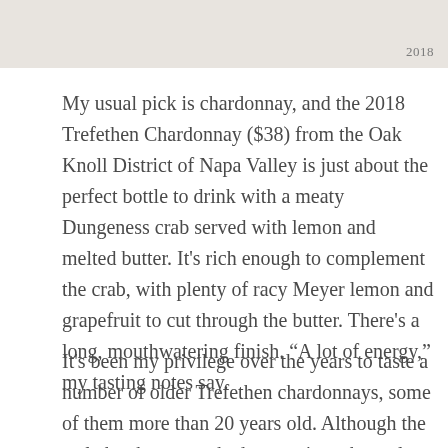[Figure (photo): Partial image strip at top of page showing a wine label or bottle, with '2018' visible in the upper right area]
My usual pick is chardonnay, and the 2018 Trefethen Chardonnay ($38) from the Oak Knoll District of Napa Valley is just about the perfect bottle to drink with a meaty Dungeness crab served with lemon and melted butter. It's rich enough to complement the crab, with plenty of racy Meyer lemon and grapefruit to cut through the butter. There's a long, mouthwatering finish. “A lot of energy,” my tasting notes say.
It's been my privilege over the years to taste a number of older Trefethen chardonnays, some of them more than 20 years old. Although the style has been tweaked some since the early days, with some